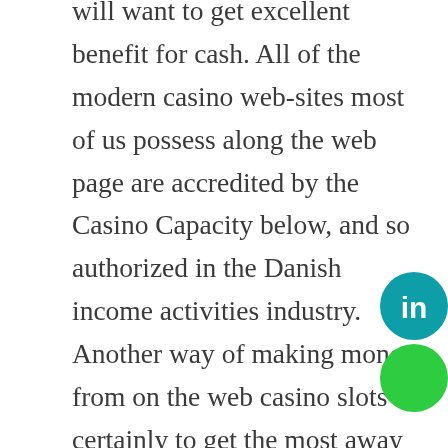will want to get excellent benefit for cash. All of the modern casino web-sites most of us possess along the web page are accredited by the Casino Capacity below, and so authorized in the Danish income activities industry. Another way of making money from on the web casino slots is certainly to get the most away of bonuses. There are no definitely bad symbols in this game and it is popular amongst players therefore.
Before you begin gambling, ensure that you have a good understanding of the different types of gambling, including what just about all casinos are looking for in a guitar player, the types of cards that are dealt with, and how the match is
[Figure (logo): LinkedIn circular logo badge, teal/blue background with 'in' in white text]
[Figure (logo): Green circular badge, partially visible at bottom right]